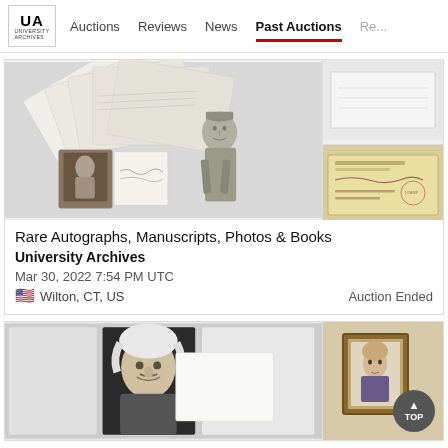UA University Archives | Auctions | Reviews | News | Past Auctions | Re...
[Figure (photo): Auction listing image showing scattered handwritten letters/cards, photographs, and a soldier statue figure]
[Figure (photo): Side panel top: small image (partially visible check or document)]
[Figure (photo): Side panel bottom: vintage bank check or document with handwriting]
Rare Autographs, Manuscripts, Photos & Books
University Archives
Mar 30, 2022 7:54 PM UTC
Wilton, CT, US
Auction Ended
[Figure (photo): Second auction listing: black and white portrait photo of Albert Einstein on left, framed portrait photo on right side]
[Figure (photo): Second auction side panel: framed portrait photograph on beige background with TOP button overlay]